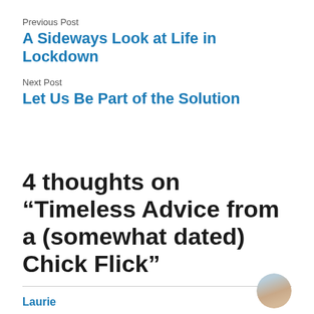Previous Post
A Sideways Look at Life in Lockdown
Next Post
Let Us Be Part of the Solution
4 thoughts on “Timeless Advice from a (somewhat dated) Chick Flick”
Laurie